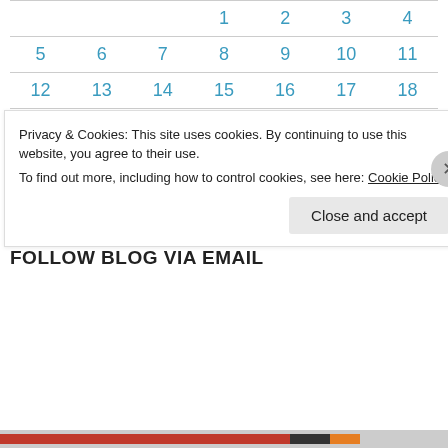| Sun | Mon | Tue | Wed | Thu | Fri | Sat |
| --- | --- | --- | --- | --- | --- | --- |
|  |  |  | 1 | 2 | 3 | 4 |
| 5 | 6 | 7 | 8 | 9 | 10 | 11 |
| 12 | 13 | 14 | 15 | 16 | 17 | 18 |
| 19 | 20 | 21 | 22 | 23 | 24 | 25 |
| 26 | 27 | 28 | 29 | 30 |  |  |
« Oct  Dec »
FOLLOW BLOG VIA EMAIL
Privacy & Cookies: This site uses cookies. By continuing to use this website, you agree to their use.
To find out more, including how to control cookies, see here: Cookie Policy
Close and accept